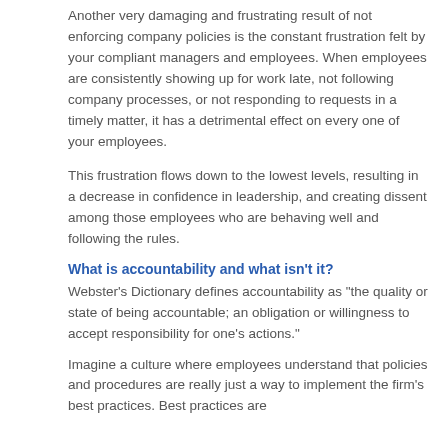Another very damaging and frustrating result of not enforcing company policies is the constant frustration felt by your compliant managers and employees. When employees are consistently showing up for work late, not following company processes, or not responding to requests in a timely matter, it has a detrimental effect on every one of your employees.
This frustration flows down to the lowest levels, resulting in a decrease in confidence in leadership, and creating dissent among those employees who are behaving well and following the rules.
What is accountability and what isn't it?
Webster's Dictionary defines accountability as "the quality or state of being accountable; an obligation or willingness to accept responsibility for one's actions."
Imagine a culture where employees understand that policies and procedures are really just a way to implement the firm's best practices. Best practices are